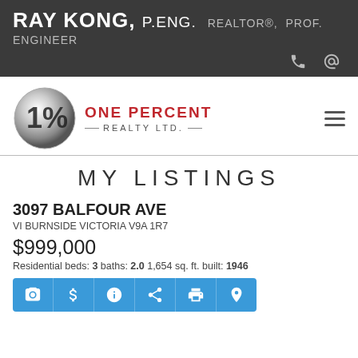RAY KONG, P.ENG. REALTOR®, PROF. ENGINEER
[Figure (logo): 1% One Percent Realty Ltd. silver sphere logo]
MY LISTINGS
3097 BALFOUR AVE
VI BURNSIDE VICTORIA V9A 1R7
$999,000
Residential beds: 3 baths: 2.0 1,654 sq. ft. built: 1946